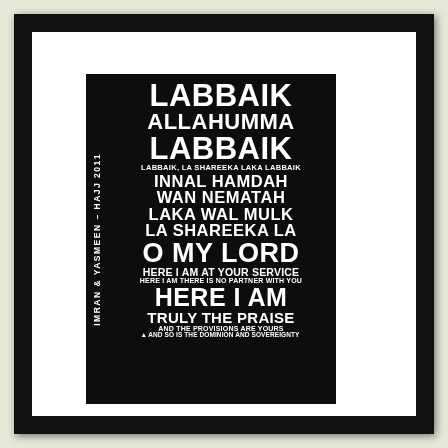[Figure (illustration): Framed black poster print with Islamic Hajj Talbiyah prayer text in white on black background. Vertical side text reads 'IMRAN & YASMEEN - HAJJ 2011'. Main text lines: LABBAIK / ALLAHUMMA / LABBAIK / LABBAIK, LA SHAREEKA LAKA LABBAIK / INNAL HAMDAH / WAN NEMATAH / LAKA WAL MULK / LA SHAREEKA LA / O MY LORD / HERE I AM AT YOUR SERVICE / HERE I AM THERE IS NO PARTNER WITH YOU / HERE I AM / TRULY THE PRAISE / AND THE PROVISIONS ARE YOURS / AND SO IS THE DOMINION AND SOVEREIGNTY. Displayed in a double-mat black and white frame.]